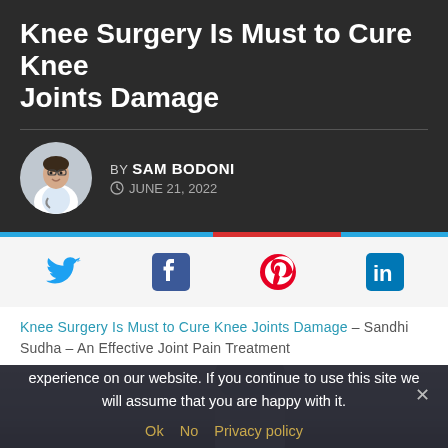Knee Surgery Is Must to Cure Knee Joints Damage
BY SAM BODONI
JUNE 21, 2022
[Figure (infographic): Social media share icons: Twitter (blue bird), Facebook (blue f), Pinterest (red P), LinkedIn (blue in)]
Knee Surgery Is Must to Cure Knee Joints Damage – Sandhi Sudha – An Effective Joint Pain Treatment
[Figure (photo): Partial photo of a person in a light blue jacket, dark background, cropped near top]
We use cookies to ensure that we give you the best experience on our website. If you continue to use this site we will assume that you are happy with it.
Ok  No  Privacy policy